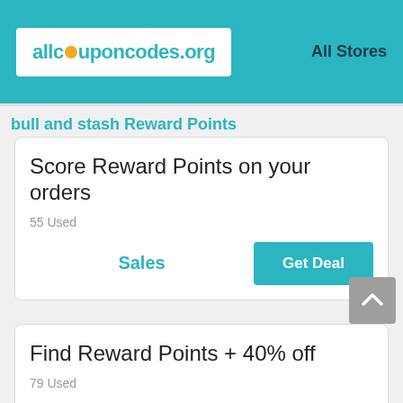allcouponcodes.org — All Stores
bull and stash Reward Points
Score Reward Points on your orders
55 Used
Sales | Get Deal
Find Reward Points + 40% off
79 Used